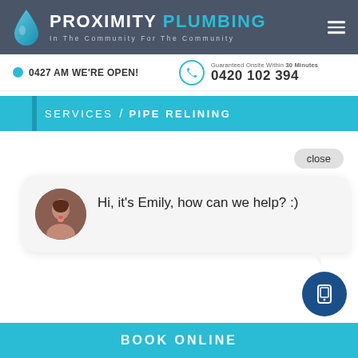[Figure (logo): Proximity Plumbing logo with water drop icon, company name, and tagline 'In The Community For The Community']
0427 AM WE'RE OPEN!
Guaranteed Onsite Within 30 Minutes
0420 102 394
SERVICES / PIPE RELINING
Hi, it's Emily, how can we help? :)
BOOK ONLINE